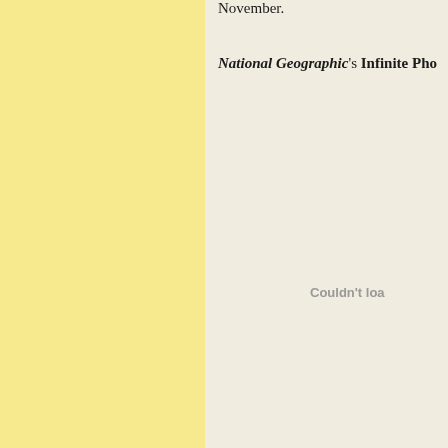November.
National Geographic's Infinite Pho
Couldn't loa